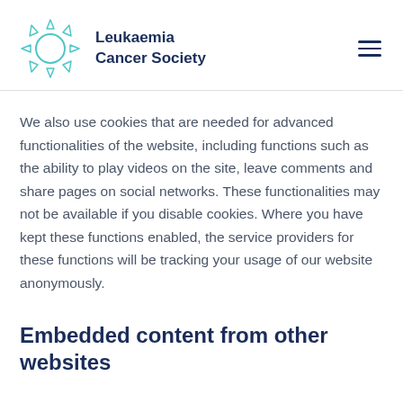Leukaemia Cancer Society
We also use cookies that are needed for advanced functionalities of the website, including functions such as the ability to play videos on the site, leave comments and share pages on social networks. These functionalities may not be available if you disable cookies. Where you have kept these functions enabled, the service providers for these functions will be tracking your usage of our website anonymously.
Embedded content from other websites